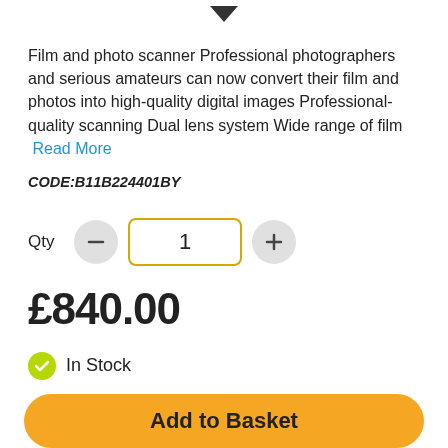Film and photo scanner Professional photographers and serious amateurs can now convert their film and photos into high-quality digital images Professional-quality scanning Dual lens system Wide range of film  Read More
CODE:B11B224401BY
Qty  1
£840.00
In Stock
Add to Basket